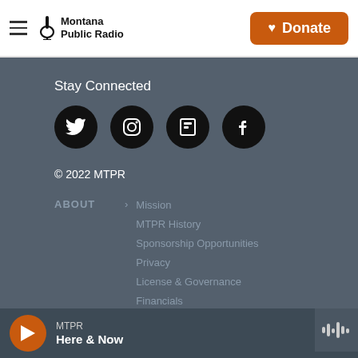Montana Public Radio | Donate
Stay Connected
[Figure (illustration): Row of four social media icons on black circles: Twitter, Instagram, Flipboard, Facebook]
© 2022 MTPR
ABOUT > Mission, MTPR History, Sponsorship Opportunities, Privacy, License & Governance, Financials
ADMIN > FCC Applications, Online Public Files, Jobs & EEO Reports
MTPR — Here & Now (player bar)